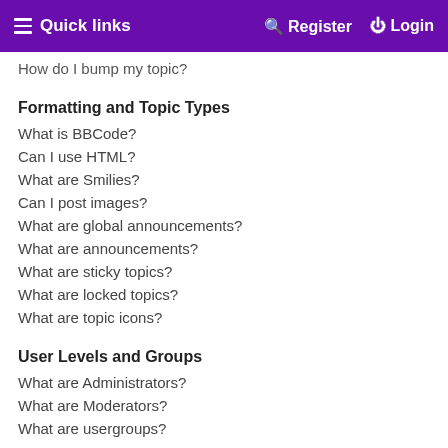Quick links   Register   Login
How do I bump my topic?
Formatting and Topic Types
What is BBCode?
Can I use HTML?
What are Smilies?
Can I post images?
What are global announcements?
What are announcements?
What are sticky topics?
What are locked topics?
What are topic icons?
User Levels and Groups
What are Administrators?
What are Moderators?
What are usergroups?